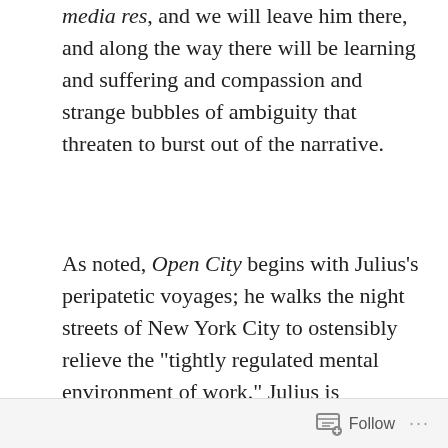character development. We will meet Julius in media res, and we will leave him there, and along the way there will be learning and suffering and compassion and strange bubbles of ambiguity that threaten to burst out of the narrative.
As noted, Open City begins with Julius's peripatetic voyages; he walks the night streets of New York City to ostensibly relieve the “tightly regulated mental environment of work.” Julius is completing his psychiatry fellowship at a hospital, and the work takes a toll on him, whether he admits it or not. In these night walks —and elsewhere and always throughout the
Follow ...